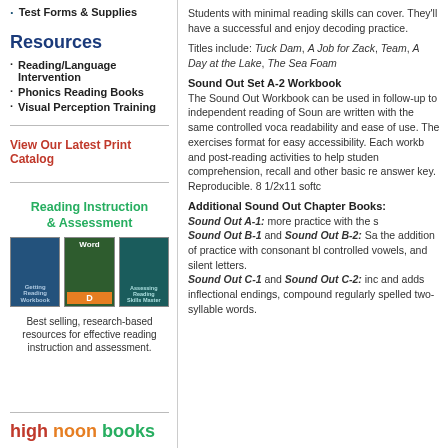Test Forms & Supplies
Resources
Reading/Language Intervention
Phonics Reading Books
Visual Perception Training
View Our Latest Print Catalog
Reading Instruction & Assessment
[Figure (photo): Three educational book covers: a blue workbook, a green Word D book, and a teal assessment book]
Best selling, research-based resources for effective reading instruction and assessment.
high noon books
Students with minimal reading skills can cover. They'll have a successful and enjoy decoding practice.
Titles include: Tuck Dam, A Job for Zack, Team, A Day at the Lake, The Sea Foam
Sound Out Set A-2 Workbook
The Sound Out Workbook can be used in follow-up to independent reading of Soun are written with the same controlled voca readability and ease of use. The exercise format for easy accessibility. Each workb and post-reading activities to help studen comprehension, recall and other basic re answer key. Reproducible. 8 1/2x11 softc
Additional Sound Out Chapter Books:
Sound Out A-1: more practice with the s Sound Out B-1 and Sound Out B-2: Sa the addition of practice with consonant bl controlled vowels, and silent letters. Sound Out C-1 and Sound Out C-2: inc and adds inflectional endings, compound regularly spelled two-syllable words.